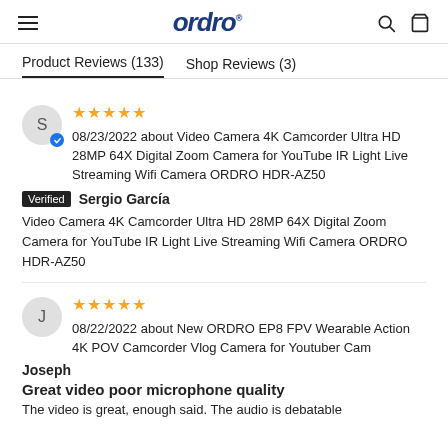ORDRO
Product Reviews (133)   Shop Reviews (3)
08/23/2022 about Video Camera 4K Camcorder Ultra HD 28MP 64X Digital Zoom Camera for YouTube IR Light Live Streaming Wifi Camera ORDRO HDR-AZ50 — Verified — Sergio García — Video Camera 4K Camcorder Ultra HD 28MP 64X Digital Zoom Camera for YouTube IR Light Live Streaming Wifi Camera ORDRO HDR-AZ50
08/22/2022 about New ORDRO EP8 FPV Wearable Action 4K POV Camcorder Vlog Camera for Youtuber Cam — Joseph — Great video poor microphone quality — The video is great, enough said. The audio is debatable